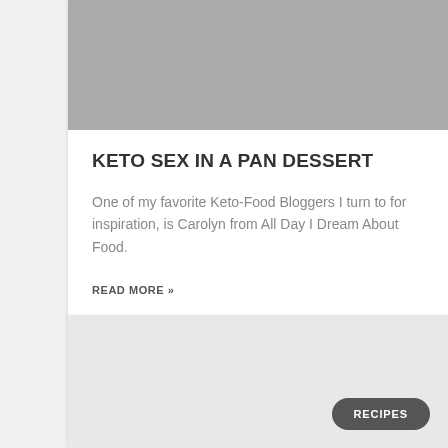[Figure (photo): Gray placeholder image at the top of the first card]
KETO SEX IN A PAN DESSERT
One of my favorite Keto-Food Bloggers I turn to for inspiration, is Carolyn from All Day I Dream About Food.
READ MORE »
[Figure (photo): Light gray placeholder image for second card with a 'RECIPES' badge button in bottom right]